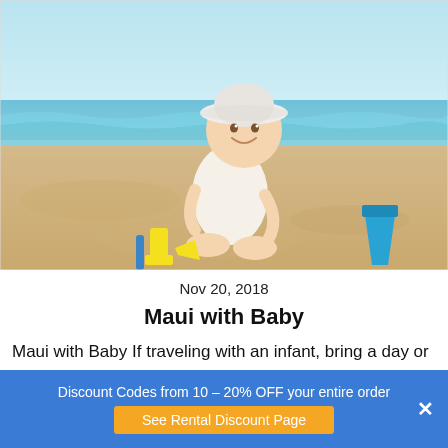[Figure (photo): A smiling baby/toddler wearing a white sun hat and white dress, sitting on a sandy beach with beach toys (yellow shovel/toy and blue bucket) nearby. Ocean waves and blue sky visible in the background.]
Nov 20, 2018
Maui with Baby
Maui with Baby If traveling with an infant, bring a day or
Discount Codes from 10 – 20% OFF your entire order
See Rental Discount Page